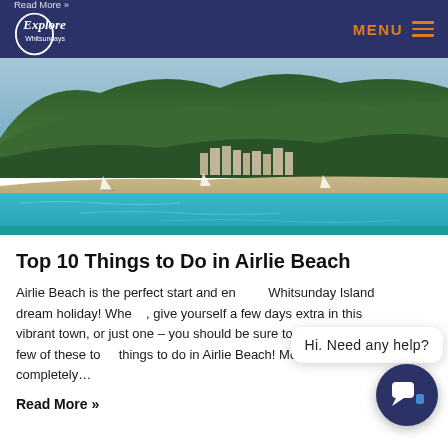Read More » Explore Whitsundays | MENU
[Figure (photo): Aerial/waterfront view of Airlie Beach with turquoise water, sailboats, beach, resort buildings, and forested mountains in the background]
Top 10 Things to Do in Airlie Beach
Airlie Beach is the perfect start and en... Whitsunday Island dream holiday! Whe... give yourself a few days extra in this vibrant town, or just one – you should be sure to check off a few of these to... things to do in Airlie Beach! Most are completely...
Read More »